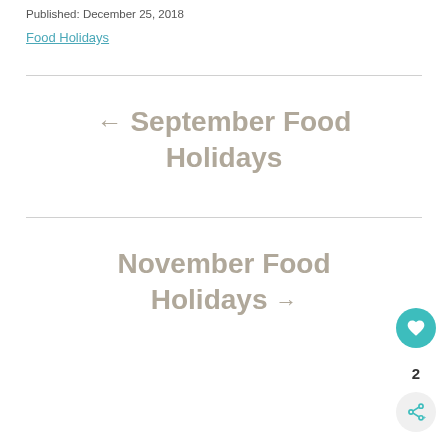Published: December 25, 2018
Food Holidays
← September Food Holidays
November Food Holidays →